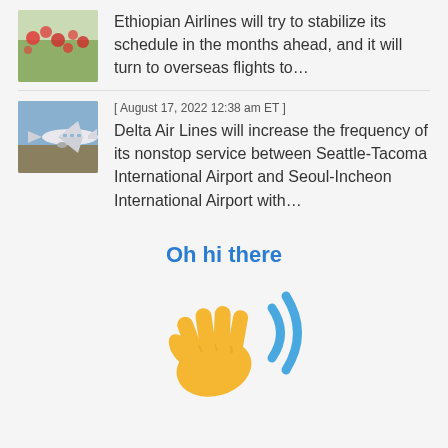[Figure (photo): Thumbnail image of red flowers/poppies field]
Ethiopian Airlines will try to stabilize its schedule in the months ahead, and it will turn to overseas flights to…
[ August 17, 2022 12:38 am ET ]
[Figure (photo): Thumbnail image of a large airplane taking off]
Delta Air Lines will increase the frequency of its nonstop service between Seattle-Tacoma International Airport and Seoul-Incheon International Airport with…
Oh hi there
[Figure (illustration): Waving hand emoji with motion lines — golden/yellow hand with blue wifi-like motion arcs]